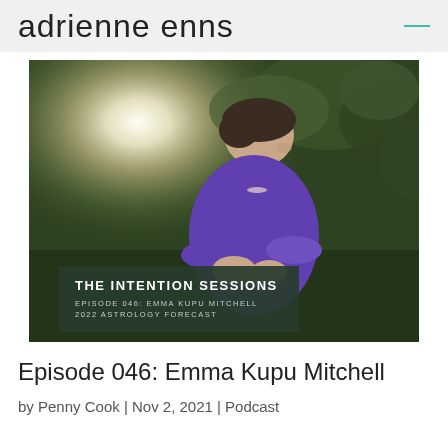adrienne enns
[Figure (photo): Podcast episode thumbnail for The Intention Sessions Episode 046 featuring Emma Kupu Mitchell. A woman with short dark hair wearing a purple top holds beads outdoors in natural light with green foliage in the background. A dark green banner overlay reads 'THE INTENTION SESSIONS / EPISODE 046: EMMA KUPU MITCHELL / 2022 ASTROLOGY FORECAST'.]
Episode 046: Emma Kupu Mitchell
by Penny Cook | Nov 2, 2021 | Podcast